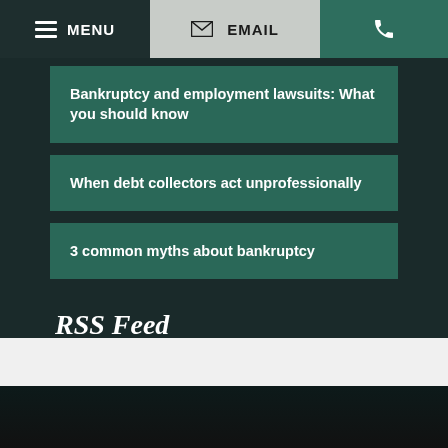MENU  EMAIL  [phone]
Bankruptcy and employment lawsuits: What you should know
When debt collectors act unprofessionally
3 common myths about bankruptcy
RSS Feed
Subscribe To This Blog's Feed